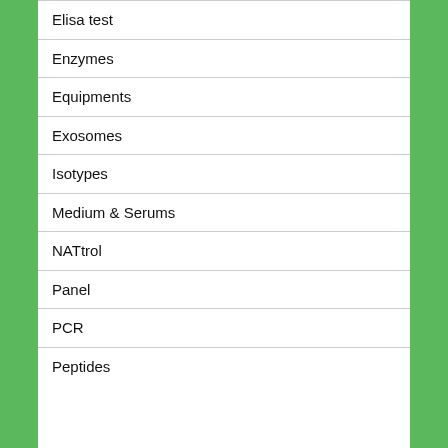Elisa test
Enzymes
Equipments
Exosomes
Isotypes
Medium & Serums
NATtrol
Panel
PCR
Peptides